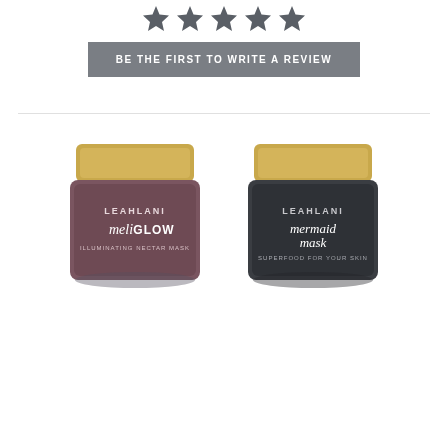[Figure (illustration): Five gray/dark star rating icons in a row]
BE THE FIRST TO WRITE A REVIEW
[Figure (photo): Two Leahlani skincare product jars with gold lids side by side: left is 'meli GLOW Illuminating Nectar Mask' in mauve/burgundy jar, right is 'mermaid mask Superfood for Your Skin' in dark charcoal jar]